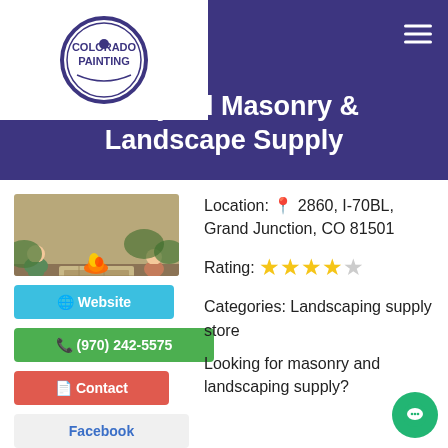[Figure (logo): Colorado Painting logo — circular emblem with text]
Brickyard Masonry & Landscape Supply
[Figure (photo): Photo of a stone fire pit with flame, people sitting nearby outdoors]
Website
(970) 242-5575
Contact
Facebook
Location: 2860, I-70BL, Grand Junction, CO 81501
Rating: 4 out of 5 stars
Categories: Landscaping supply store
Looking for masonry and landscaping supply?